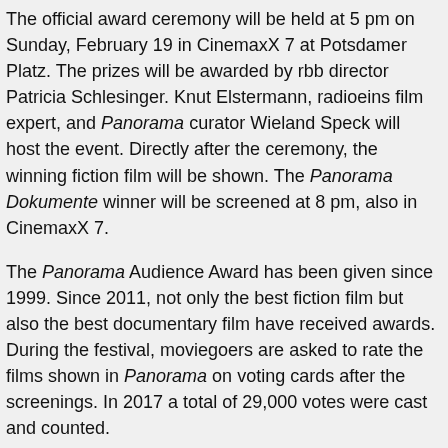The official award ceremony will be held at 5 pm on Sunday, February 19 in CinemaxX 7 at Potsdamer Platz. The prizes will be awarded by rbb director Patricia Schlesinger. Knut Elstermann, radioeins film expert, and Panorama curator Wieland Speck will host the event. Directly after the ceremony, the winning fiction film will be shown. The Panorama Dokumente winner will be screened at 8 pm, also in CinemaxX 7.
The Panorama Audience Award has been given since 1999. Since 2011, not only the best fiction film but also the best documentary film have received awards. During the festival, moviegoers are asked to rate the films shown in Panorama on voting cards after the screenings. In 2017 a total of 29,000 votes were cast and counted.
This year Panorama presented 50 feature-length films from 43 countries, of which 21 screened in the Panorama Dokumente series.